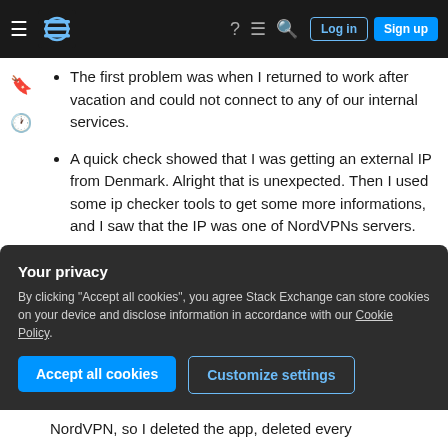Stack Exchange navigation bar with hamburger menu, logo, help, chat, search, Log in, Sign up
The first problem was when I returned to work after vacation and could not connect to any of our internal services.
A quick check showed that I was getting an external IP from Denmark. Alright that is unexpected. Then I used some ip checker tools to get some more informations, and I saw that the IP was one of NordVPNs servers.
Alright - so I don't seem to have a malware proxy (what I first thought) but rather a
Your privacy
By clicking "Accept all cookies", you agree Stack Exchange can store cookies on your device and disclose information in accordance with our Cookie Policy.
Accept all cookies
Customize settings
NordVPN, so I deleted the app, deleted every